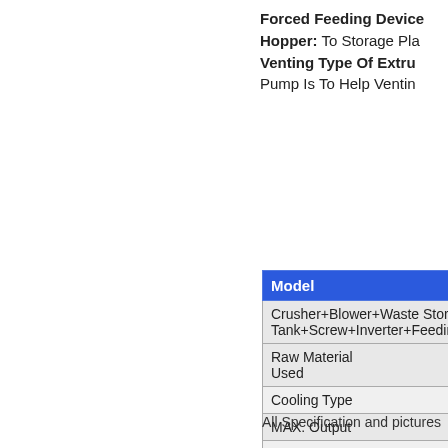Forced Feeding Device
Hopper: To Storage Pla
Venting Type Of Extru
Pump Is To Help Ventin
| Model | YF-OTR-75 |
| --- | --- |
| Crusher+Blower+Waste Stora Tank+Air Disperse Tank+Screw+Inverter+Feedin Screw+Force Feeding Air Cyl |  |
| Raw Material Used | HDPE |
| Cooling Type | Air-Cooling |
| MAX. Output | 40-60 KG/HR |
| Die Head Type | Die Face Cutt |
| Products | Bean Type of |
| Screw | 75mm |
All Specification and pictures